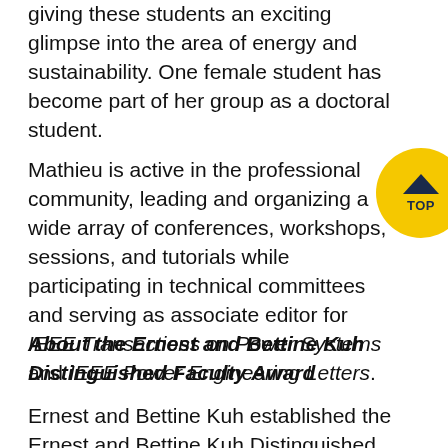giving these students an exciting glimpse into the area of energy and sustainability. One female student has become part of her group as a doctoral student.
Mathieu is active in the professional community, leading and organizing a wide array of conferences, workshops, sessions, and tutorials while participating in technical committees and serving as associate editor for IEEE Transactions on Power Systems and IEEE Power Engineering Letters.
About the Ernest and Bettine Kuh Distinguished Faculty Award
Ernest and Bettine Kuh established the Ernest and Bettine Kuh Distinguished Faculty Award in 2012 to